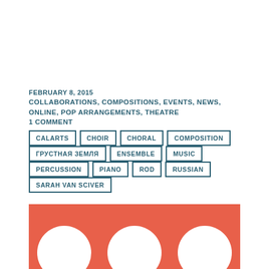FEBRUARY 8, 2015
COLLABORATIONS, COMPOSITIONS, EVENTS, NEWS, ONLINE, POP ARRANGEMENTS, THEATRE
1 COMMENT
CALARTS
CHOIR
CHORAL
COMPOSITION
ГРУСТНАЯ ЗЕМЛЯ
ENSEMBLE
MUSIC
PERCUSSION
PIANO
ROD
RUSSIAN
SARAH VAN SCIVER
[Figure (illustration): Orange/coral colored background with white circular shapes partially visible at the bottom, suggesting a decorative or album art image.]